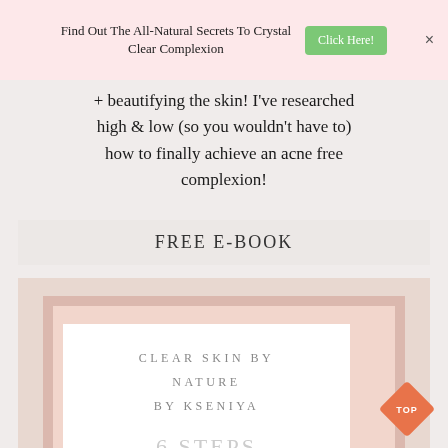Find Out The All-Natural Secrets To Crystal Clear Complexion  Click Here!
+ beautifying the skin! I've researched high & low (so you wouldn't have to) how to finally achieve an acne free complexion!
FREE E-BOOK
[Figure (illustration): Book cover for 'Clear Skin by Nature by Kseniya' with pink/rose layered border design and text '6 STEPS' partially visible at bottom]